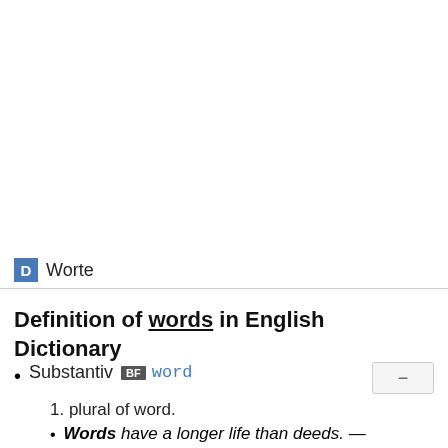D Worte
Definition of words in English Dictionary
Substantiv BF word
1. plural of word.
Words have a longer life than deeds. —